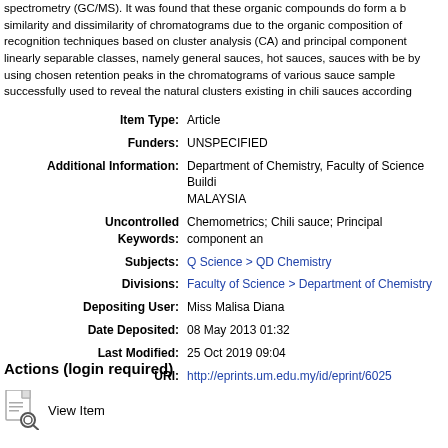spectrometry (GC/MS). It was found that these organic compounds do form a b similarity and dissimilarity of chromatograms due to the organic composition of recognition techniques based on cluster analysis (CA) and principal component linearly separable classes, namely general sauces, hot sauces, sauces with be by using chosen retention peaks in the chromatograms of various sauce sample successfully used to reveal the natural clusters existing in chili sauces according
| Field | Value |
| --- | --- |
| Item Type: | Article |
| Funders: | UNSPECIFIED |
| Additional Information: | Department of Chemistry, Faculty of Science Buildi MALAYSIA |
| Uncontrolled Keywords: | Chemometrics; Chili sauce; Principal component an |
| Subjects: | Q Science > QD Chemistry |
| Divisions: | Faculty of Science > Department of Chemistry |
| Depositing User: | Miss Malisa Diana |
| Date Deposited: | 08 May 2013 01:32 |
| Last Modified: | 25 Oct 2019 09:04 |
| URI: | http://eprints.um.edu.my/id/eprint/6025 |
Actions (login required)
View Item